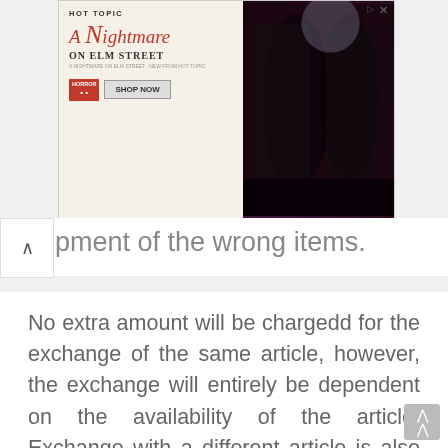[Figure (other): Advertisement banner for Hot Topic featuring A Nightmare on Elm Street merchandise with a Shop Now button and two people wearing the merchandise]
pment of the wrong items.
No extra amount will be chargedd for the exchange of the same article, however, the exchange will entirely be dependent on the availability of the article. Exchange with a different article is also possible but the additional cost of the exchange article will be paid by the customer.